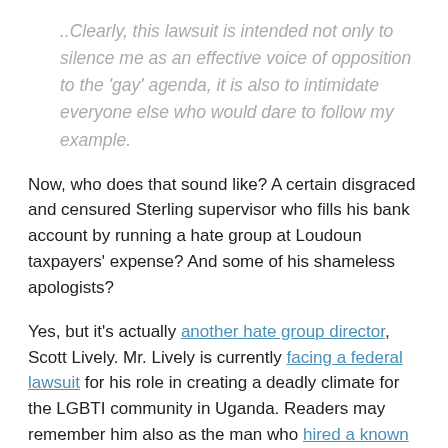..Clearly, this lawsuit is intended not only to silence me as an effective voice of opposition to the 'gay' agenda, it is also to intimidate everyone else who would dare to follow my example.
Now, who does that sound like? A certain disgraced and censured Sterling supervisor who fills his bank account by running a hate group at Loudoun taxpayers' expense? And some of his shameless apologists?
Yes, but it's actually another hate group director, Scott Lively. Mr. Lively is currently facing a federal lawsuit for his role in creating a deadly climate for the LGBTI community in Uganda. Readers may remember him also as the man who hired a known child rapist to run his fake "ministry" out of a coffeehouse designed to attract teenagers. But that was okay, because the predator had "accepted the salvation of